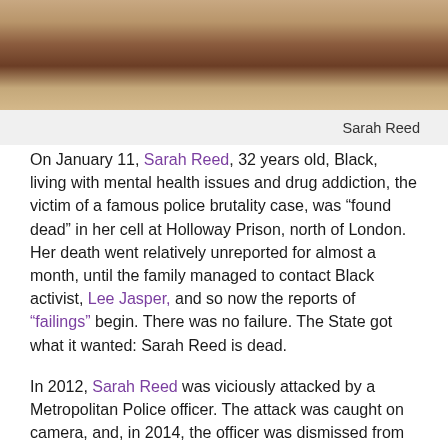[Figure (photo): Close-up photo of a person's face/hair, cropped, showing skin and hair texture in brown tones]
Sarah Reed
On January 11, Sarah Reed, 32 years old, Black, living with mental health issues and drug addiction, the victim of a famous police brutality case, was “found dead” in her cell at Holloway Prison, north of London. Her death went relatively unreported for almost a month, until the family managed to contact Black activist, Lee Jasper, and so now the reports of “failings” begin. There was no failure. The State got what it wanted: Sarah Reed is dead.
In 2012, Sarah Reed was viciously attacked by a Metropolitan Police officer. The attack was caught on camera, and, in 2014, the officer was dismissed from the force.
In October 2014, Sarah Reed was in a mental health hospital when she allegedly attacked someone. Her family says she wrote to them saying she had acted in self-defense. On January